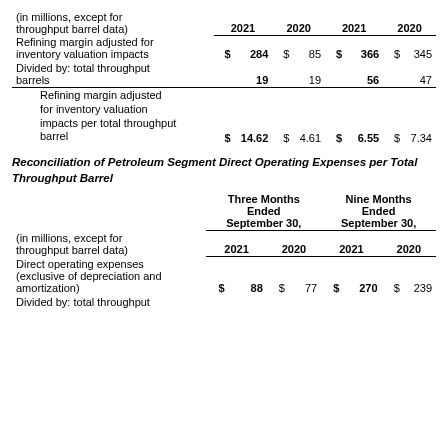| (in millions, except for throughput barrel data) | 2021 | 2020 | 2021 | 2020 |
| --- | --- | --- | --- | --- |
| Refining margin adjusted for inventory valuation impacts | $ 284 | $ 85 | $ 366 | 345 |
| Divided by: total throughput barrels | 19 | 19 | 56 | 47 |
| Refining margin adjusted for inventory valuation impacts per total throughput barrel | $ 14.62 | $ 4.61 | $ 6.55 | 7.34 |
Reconciliation of Petroleum Segment Direct Operating Expenses per Total Throughput Barrel
| (in millions, except for throughput barrel data) | Three Months Ended September 30, 2021 | Three Months Ended September 30, 2020 | Nine Months Ended September 30, 2021 | Nine Months Ended September 30, 2020 |
| --- | --- | --- | --- | --- |
| Direct operating expenses (exclusive of depreciation and amortization) | $ 88 | $ 77 | $ 270 | 239 |
| Divided by: total throughput |  |  |  |  |